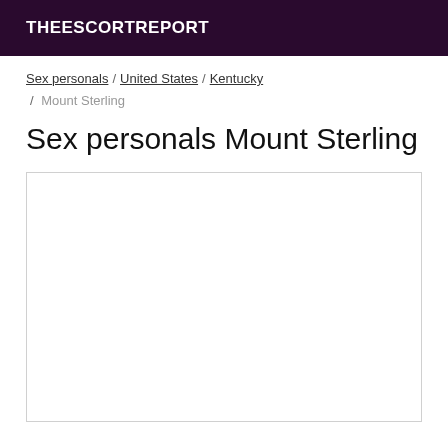THEESCORTREPORT
Sex personals / United States / Kentucky / Mount Sterling
Sex personals Mount Sterling
[Figure (other): Empty white content box with light gray border]